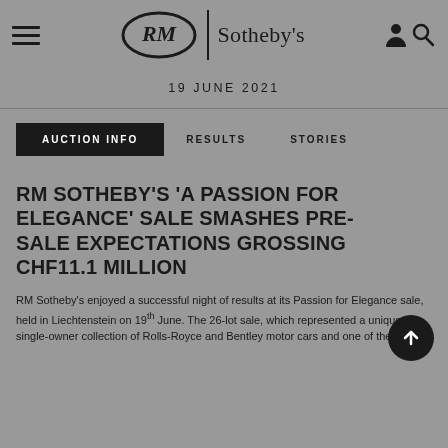RM Sotheby's
19 JUNE 2021
AUCTION INFO   RESULTS   STORIES
RM SOTHEBY'S 'A PASSION FOR ELEGANCE' SALE SMASHES PRE-SALE EXPECTATIONS GROSSING CHF11.1 MILLION
RM Sotheby's enjoyed a successful night of results at its Passion for Elegance sale, held in Liechtenstein on 19th June. The 26-lot sale, which represented a unique, single-owner collection of Rolls-Royce and Bentley motor cars and one of the finest